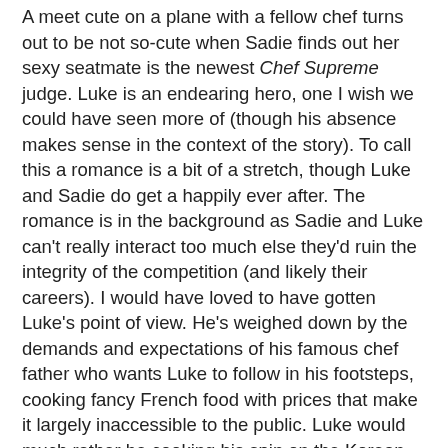A meet cute on a plane with a fellow chef turns out to be not so-cute when Sadie finds out her sexy seatmate is the newest Chef Supreme judge. Luke is an endearing hero, one I wish we could have seen more of (though his absence makes sense in the context of the story). To call this a romance is a bit of a stretch, though Luke and Sadie do get a happily ever after. The romance is in the background as Sadie and Luke can't really interact too much else they'd ruin the integrity of the competition (and likely their careers). I would have loved to have gotten Luke's point of view. He's weighed down by the demands and expectations of his famous chef father who wants Luke to follow in his footsteps, cooking fancy French food with prices that make it largely inaccessible to the public. Luke would much rather be cooking his spin on the Korean food his halmoni made. The way Luke (and really, almost all the chefs except for Vanilla Joe) talk about their food light up the book. When someone is passionate about a subject it comes through and draws you in.
Since Sadie on a Plate is told in the first person and is really about Sadie's journey, Luke and the love story take a back seat which may or may not bother you depending on reader